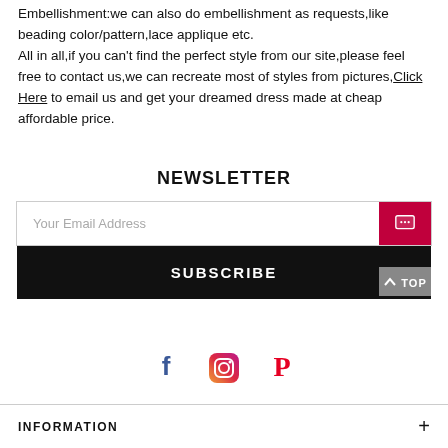Embellishment:we can also do embellishment as requests,like beading color/pattern,lace applique etc.
All in all,if you can't find the perfect style from our site,please feel free to contact us,we can recreate most of styles from pictures,Click Here to email us and get your dreamed dress made at cheap affordable price.
NEWSLETTER
Your Email Address
SUBSCRIBE
[Figure (infographic): Social media icons: Facebook (blue f), Instagram (gradient camera), Pinterest (red P)]
INFORMATION